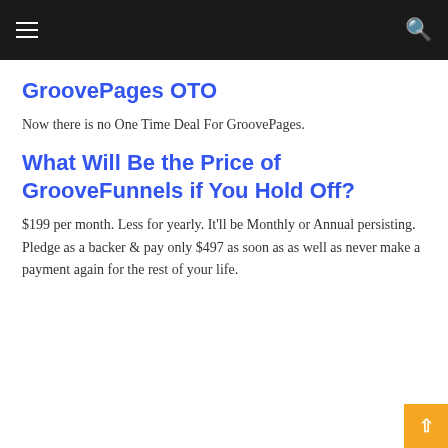Navigation bar with hamburger menu and search icon
GroovePages OTO
Now there is no One Time Deal For GroovePages.
What Will Be the Price of GrooveFunnels if You Hold Off?
$199 per month. Less for yearly. It'll be Monthly or Annual persisting. Pledge as a backer & pay only $497 as soon as as well as never make a payment again for the rest of your life.